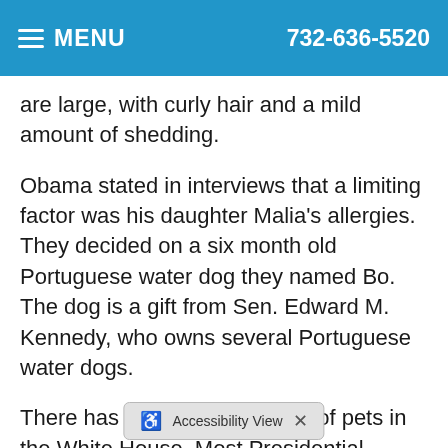≡ MENU   732-636-5520
are large, with curly hair and a mild amount of shedding.
Obama stated in interviews that a limiting factor was his daughter Malia's allergies. They decided on a six month old Portuguese water dog they named Bo. The dog is a gift from Sen. Edward M. Kennedy, who owns several Portuguese water dogs.
There has been a long history of pets in the White House. Most Presidential pooches have been pure-breed dogs, including "Buddy" Clinton, a chocolate Labrador retriever and "Barney" and "Miss Beazley" Bush, both Scottish terriers. Bush Sr. had a Springer Spaniel named "Millie ... pies